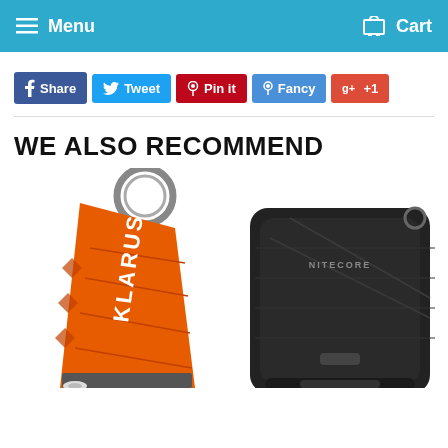Menu  Cart
Share  Tweet  Pin it  Fancy  +1
WE ALSO RECOMMEND
[Figure (photo): Two product photos: orange Klarus keychain flashlight on the left and a black Nitecore device on the right]